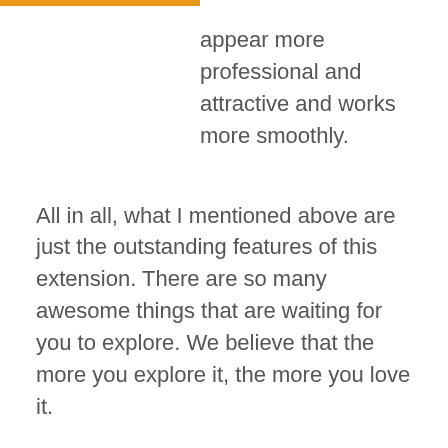appear more professional and attractive and works more smoothly.
All in all, what I mentioned above are just the outstanding features of this extension. There are so many awesome things that are waiting for you to explore. We believe that the more you explore it, the more you love it.
Hopefully, the share of Cmsmart above will help you somewhat. If you have any questions, feel free to feedback here. My colleagues and I are willing to support you.